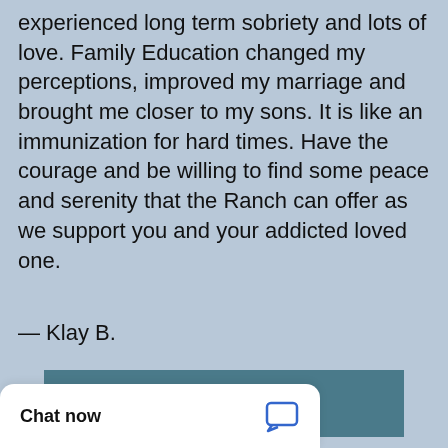experienced long term sobriety and lots of love. Family Education changed my perceptions, improved my marriage and brought me closer to my sons. It is like an immunization for hard times. Have the courage and be willing to find some peace and serenity that the Ranch can offer as we support you and your addicted loved one.
— Klay B.
Read More
Chat now